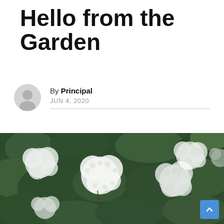Hello from the Garden
By Principal
JUN 4, 2020
[Figure (photo): Close-up photograph of white flowering elderberry or similar shrub with clusters of small white flowers and green leaves, garden setting]